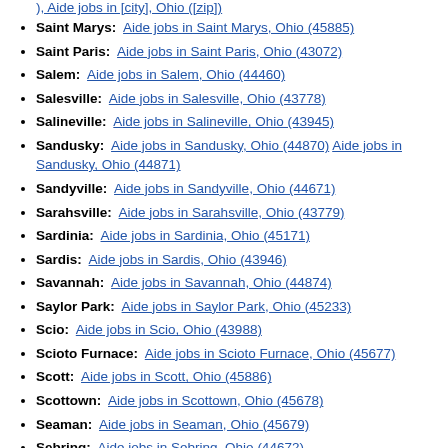Saint Marys: Aide jobs in Saint Marys, Ohio (45885)
Saint Paris: Aide jobs in Saint Paris, Ohio (43072)
Salem: Aide jobs in Salem, Ohio (44460)
Salesville: Aide jobs in Salesville, Ohio (43778)
Salineville: Aide jobs in Salineville, Ohio (43945)
Sandusky: Aide jobs in Sandusky, Ohio (44870) Aide jobs in Sandusky, Ohio (44871)
Sandyville: Aide jobs in Sandyville, Ohio (44671)
Sarahsville: Aide jobs in Sarahsville, Ohio (43779)
Sardinia: Aide jobs in Sardinia, Ohio (45171)
Sardis: Aide jobs in Sardis, Ohio (43946)
Savannah: Aide jobs in Savannah, Ohio (44874)
Saylor Park: Aide jobs in Saylor Park, Ohio (45233)
Scio: Aide jobs in Scio, Ohio (43988)
Scioto Furnace: Aide jobs in Scioto Furnace, Ohio (45677)
Scott: Aide jobs in Scott, Ohio (45886)
Scottown: Aide jobs in Scottown, Ohio (45678)
Seaman: Aide jobs in Seaman, Ohio (45679)
Sebring: Aide jobs in Sebring, Ohio (44672)
Sedalia: Aide jobs in Sedalia, Ohio (43151)
Selma: Aide jobs in Selma, Ohio (45368)
Senecaville: Aide jobs in Senecaville, Ohio (43780)
Seven Mile: Aide jobs in Seven Mile, Ohio (45062)
Seville: Aide jobs in Seville, Ohio (44273)
Shade: Aide jobs in Shade, Ohio (45776)